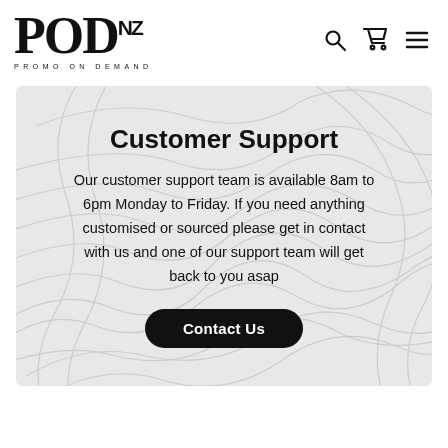[Figure (logo): POD.NZ logo with text PROMO ON DEMAND below]
Customer Support
Our customer support team is available 8am to 6pm Monday to Friday. If you need anything customised or sourced please get in contact with us and one of our support team will get back to you asap
Contact Us